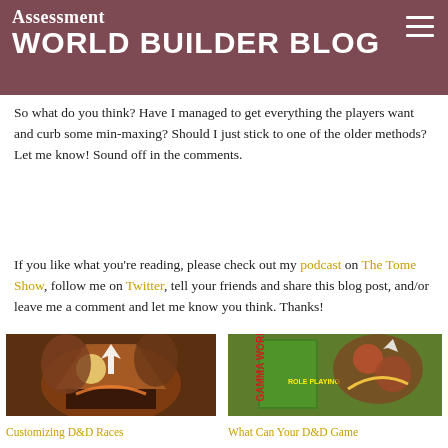Assessment WORLD BUILDER BLOG
So what do you think? Have I managed to get everything the players want and curb some min-maxing? Should I just stick to one of the older methods? Let me know! Sound off in the comments.
If you like what you’re reading, please check out my podcast on The Tome Show, follow me on Twitter, tell your friends and share this blog post, and/or leave me a comment and let me know you think. Thanks!
[Figure (illustration): Fantasy D&D art showing warriors in battle with fire and dramatic lighting]
Customizing D&D Races
[Figure (illustration): Gamma World roleplaying game cover showing colorful mutant creatures in combat]
What Can Your D&D Game